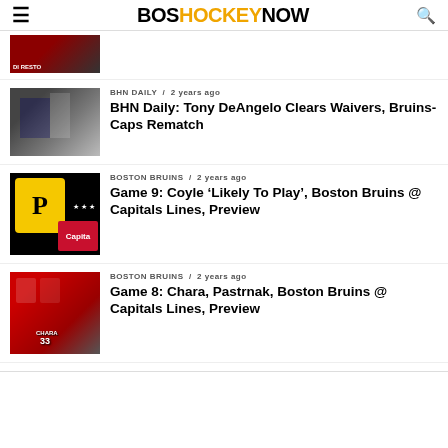BOS HOCKEY NOW
[Figure (photo): Partial hockey article thumbnail at top of list, partially cropped]
[Figure (photo): Hockey players on ice, New York Rangers player and referee]
BHN DAILY / 2 years ago
BHN Daily: Tony DeAngelo Clears Waivers, Bruins-Caps Rematch
[Figure (photo): Pittsburgh Penguins and Washington Capitals logos combined]
BOSTON BRUINS / 2 years ago
Game 9: Coyle ‘Likely To Play’, Boston Bruins @ Capitals Lines, Preview
[Figure (photo): Washington Capitals players in red jerseys celebrating, player #33 Chara visible]
BOSTON BRUINS / 2 years ago
Game 8: Chara, Pastrnak, Boston Bruins @ Capitals Lines, Preview